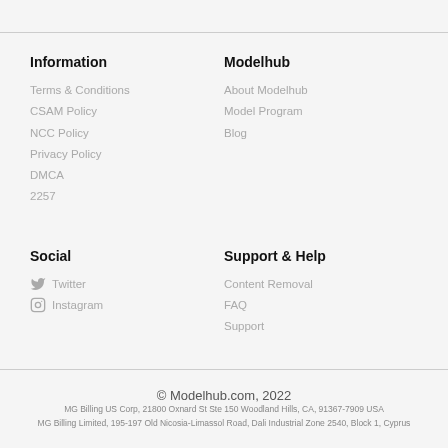Information
Terms & Conditions
CSAM Policy
NCC Policy
Privacy Policy
DMCA
2257
Modelhub
About Modelhub
Model Program
Blog
Social
Twitter
Instagram
Support & Help
Content Removal
FAQ
Support
© Modelhub.com, 2022
MG Billing US Corp, 21800 Oxnard St Ste 150 Woodland Hills, CA, 91367-7909 USA
MG Billing Limited, 195-197 Old Nicosia-Limassol Road, Dali Industrial Zone 2540, Block 1, Cyprus